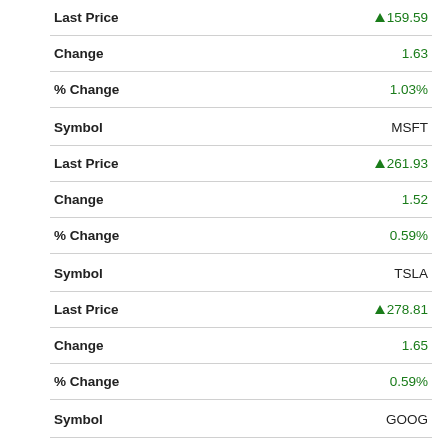| Field | Value |
| --- | --- |
| Last Price | ▲159.59 |
| Change | 1.63 |
| % Change | 1.03% |
| Symbol | MSFT |
| Last Price | ▲261.93 |
| Change | 1.52 |
| % Change | 0.59% |
| Symbol | TSLA |
| Last Price | ▲278.81 |
| Change | 1.65 |
| % Change | 0.59% |
| Symbol | GOOG |
| Last Price | ▲110.73 |